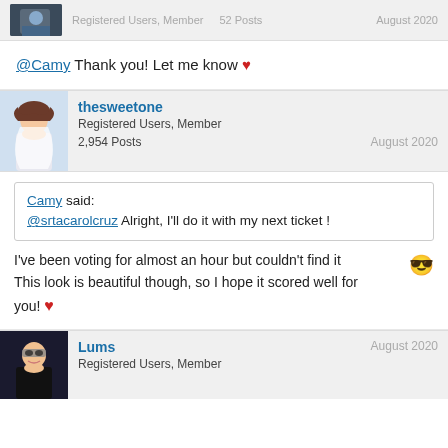Registered Users, Member   52 Posts   August 2020
@Camy Thank you! Let me know ❤
thesweetone
Registered Users, Member
2,954 Posts
August 2020
Camy said:
@srtacarolcruz Alright, I'll do it with my next ticket !
I've been voting for almost an hour but couldn't find it 😎 This look is beautiful though, so I hope it scored well for you! ❤
Lums
Registered Users, Member
August 2020